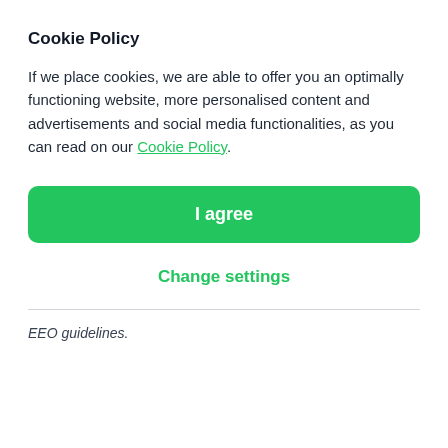Cookie Policy
If we place cookies, we are able to offer you an optimally functioning website, more personalised content and advertisements and social media functionalities, as you can read on our Cookie Policy.
I agree
Change settings
EEO guidelines.